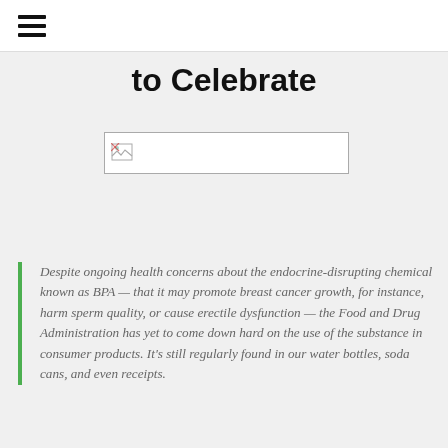≡
to Celebrate
[Figure (other): Broken/unloaded image placeholder with small broken image icon on left side]
Despite ongoing health concerns about the endocrine-disrupting chemical known as BPA — that it may promote breast cancer growth, for instance, harm sperm quality, or cause erectile dysfunction — the Food and Drug Administration has yet to come down hard on the use of the substance in consumer products. It's still regularly found in our water bottles, soda cans, and even receipts.